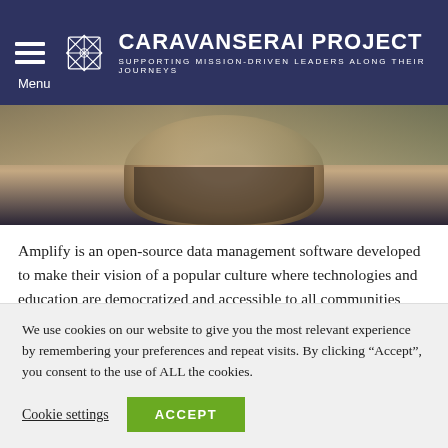Menu | CARAVANSERAI PROJECT — SUPPORTING MISSION-DRIVEN LEADERS ALONG THEIR JOURNEYS
[Figure (photo): Close-up photo of a man's lower face and chin with a beard, blurred background]
Amplify is an open-source data management software developed to make their vision of a popular culture where technologies and education are democratized and accessible to all communities come true.
The Defeating Epilepsy
We use cookies on our website to give you the most relevant experience by remembering your preferences and repeat visits. By clicking “Accept”, you consent to the use of ALL the cookies.
Cookie settings  ACCEPT